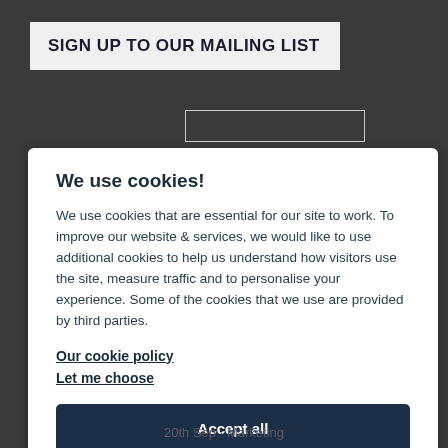SIGN UP TO OUR MAILING LIST
We use cookies!
We use cookies that are essential for our site to work. To improve our website & services, we would like to use additional cookies to help us understand how visitors use the site, measure traffic and to personalise your experience. Some of the cookies that we use are provided by third parties.
Our cookie policy
Let me choose
Accept all
Reject all
20th Sep · Marketing